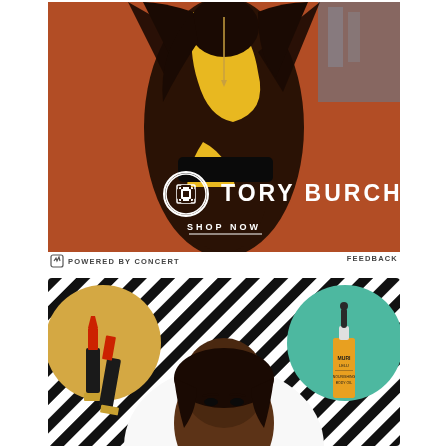[Figure (photo): Tory Burch advertisement showing a model in a brown and yellow dress with arms raised, standing in front of a brick wall. The Tory Burch logo with cross-shaped emblem is overlaid in white, along with a 'SHOP NOW' call to action.]
POWERED BY CONCERT
FEEDBACK
[Figure (photo): Bottom advertisement showing beauty products including a red lipstick on a gold circular background on the left, a person's face in the center on a striped black-and-white background with a light arch, and a skincare serum bottle on a teal circular background on the right.]